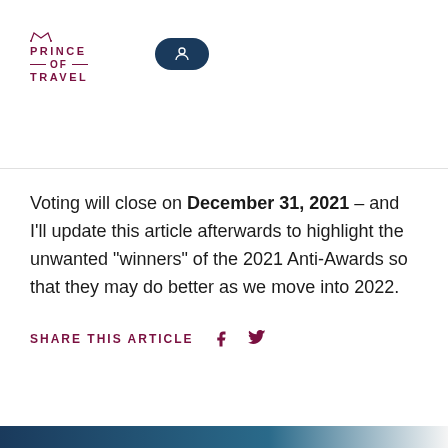PRINCE OF TRAVEL
Voting will close on December 31, 2021 – and I'll update this article afterwards to highlight the unwanted “winners” of the 2021 Anti-Awards so that they may do better as we move into 2022.
SHARE THIS ARTICLE